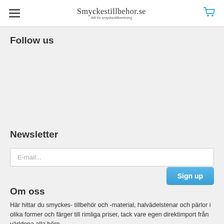Smyckestillbehor.se - Allt för smyckestillverkning
Follow us
Newsletter
E-mail...
Sign up
Om oss
Här hittar du smyckes- tillbehör och -material, halvädel­stenar och pärlor i olika former och färger till rimliga priser, tack vare egen direktimport från världena alla hörn.